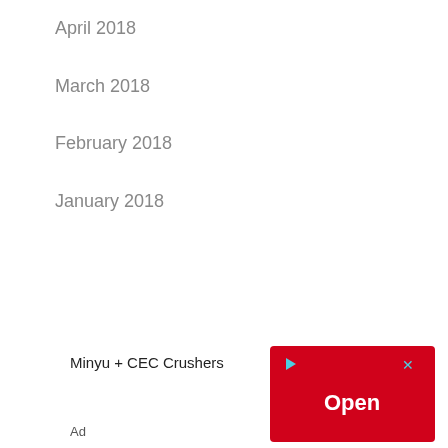April 2018
March 2018
February 2018
January 2018
[Figure (other): Advertisement banner: Minyu + CEC Crushers with red Open button and ad label]
Minyu + CEC Crushers
Ad